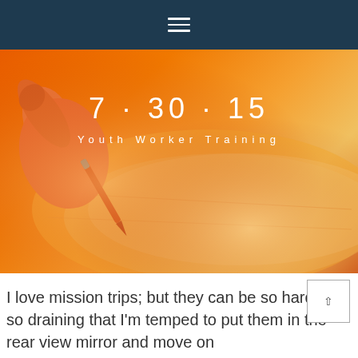≡
[Figure (photo): Orange-tinted photo of a hand holding a pen writing on paper, used as hero banner background]
7 · 30 · 15
Youth Worker Training
I love mission trips; but they can be so hard and so draining that I'm temped to put them in the rear view mirror and move on